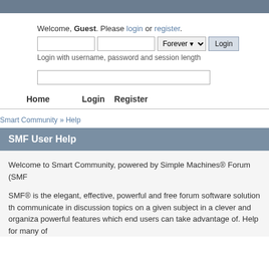Welcome, Guest. Please login or register.
Login with username, password and session length
Home   Login   Register
Smart Community » Help
SMF User Help
Welcome to Smart Community, powered by Simple Machines® Forum (SMF

SMF® is the elegant, effective, powerful and free forum software solution th... communicate in discussion topics on a given subject in a clever and organiza... powerful features which end users can take advantage of. Help for many of